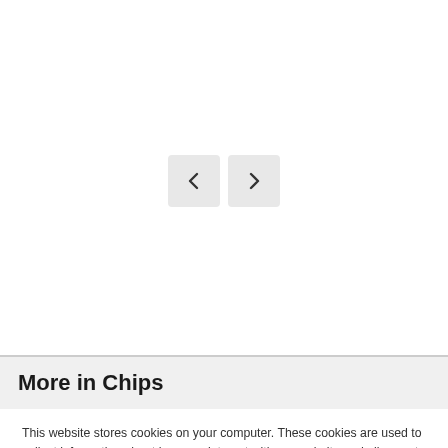[Figure (other): Navigation arrow buttons: left chevron and right chevron, gray rounded rectangle backgrounds]
More in Chips
This website stores cookies on your computer. These cookies are used to collect information about how you interact with our website and allow us to remember you. We use this information in order to improve and customize your browsing experience and for analytics and metrics about our visitors both on this website and other media. To find out more about the cookies we use, see our Privacy Policy. California residents have the right to direct us not to sell their personal information to third parties by filing an Opt-Out Request: Do Not Sell My Personal Info.
Accept